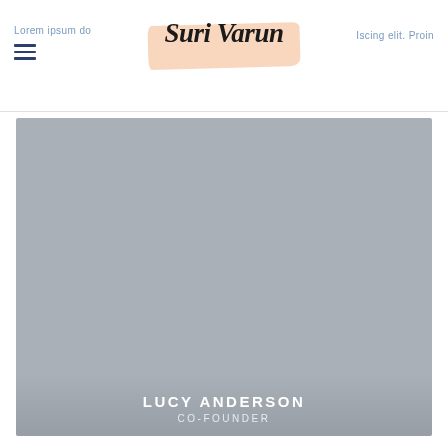Lorem ipsum do   Suri Varun   Iscing elit. Proin
[Figure (photo): Large portrait photo placeholder in gray showing person (Lucy Anderson, Co-Founder) with name overlay at bottom]
LUCY ANDERSON
CO-FOUNDER